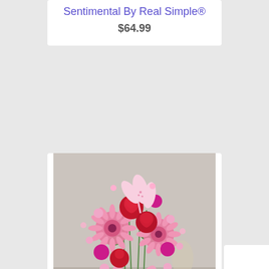Sentimental By Real Simple®
$64.99
[Figure (photo): A floral bouquet arrangement in a glass vase tied with a pink bow, containing pink gerbera daisies, red roses, pink lilies, and assorted pink flowers.]
Fields Of Europe Romance
$84.99